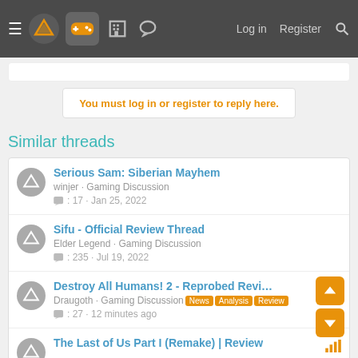Navigation bar with logo, gamepad icon, building icon, chat icon, Log in, Register, Search
You must log in or register to reply here.
Similar threads
Serious Sam: Siberian Mayhem — winjer · Gaming Discussion — 17 · Jan 25, 2022
Sifu - Official Review Thread — Elder Legend · Gaming Discussion — 235 · Jul 19, 2022
Destroy All Humans! 2 - Reprobed Review Thread — Draugoth · Gaming Discussion · News · Analysis · Review — 27 · 12 minutes ago
The Last of Us Part I (Remake) | Review